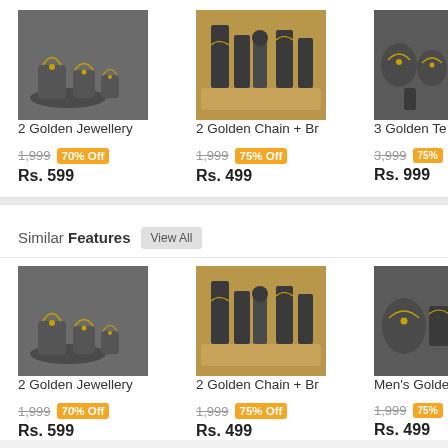[Figure (photo): 2 Golden Jewellery set display on dark stands]
2 Golden Jewellery
1,999  70% Off
Rs. 599
[Figure (photo): 2 Golden Chain + Bracelet display on wooden base]
2 Golden Chain + Br
1,999  75% Off
Rs. 499
[Figure (photo): 3 Golden Te... jewellery display (partially visible)]
3 Golden Te
3,999  75%
Rs. 999
Similar Features  View All
[Figure (photo): 2 Golden Jewellery set display on dark stands]
2 Golden Jewellery
1,999  70% Off
Rs. 599
[Figure (photo): 2 Golden Chain + Bracelet display on wooden base]
2 Golden Chain + Br
1,999  75% Off
Rs. 499
[Figure (photo): Men's Golden jewellery (partially visible)]
Men's Golde
1,999  75%
Rs. 499